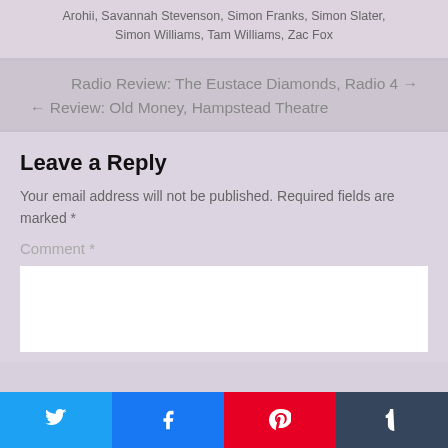Arohii, Savannah Stevenson, Simon Franks, Simon Slater, Simon Williams, Tam Williams, Zac Fox
Radio Review: The Eustace Diamonds, Radio 4 →
← Review: Old Money, Hampstead Theatre
Leave a Reply
Your email address will not be published. Required fields are marked *
Comment *